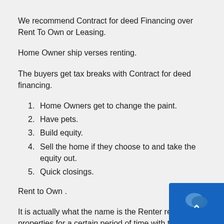We recommend Contract for deed Financing over Rent To Own or Leasing.
Home Owner ship verses renting.
The buyers get tax breaks with Contract for deed financing.
1. Home Owners get to change the paint.
2. Have pets.
3. Build equity.
4. Sell the home if they choose to and take the equity out.
5. Quick closings.
Rent to Own .
It is actually what the name is the Renter rents the properties for a certain period of time with the option of